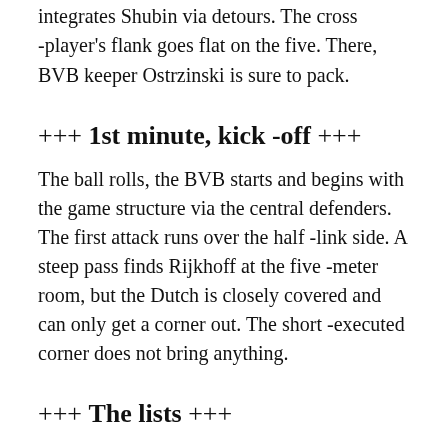integrates Shubin via detours. The cross -player's flank goes flat on the five. There, BVB keeper Ostrzinski is sure to pack.
+++ 1st minute, kick -off +++
The ball rolls, the BVB starts and begins with the game structure via the central defenders. The first attack runs over the half -link side. A steep pass finds Rijkhoff at the five -meter room, but the Dutch is closely covered and can only get a corner out. The short -executed corner does not bring anything.
+++ The lists +++